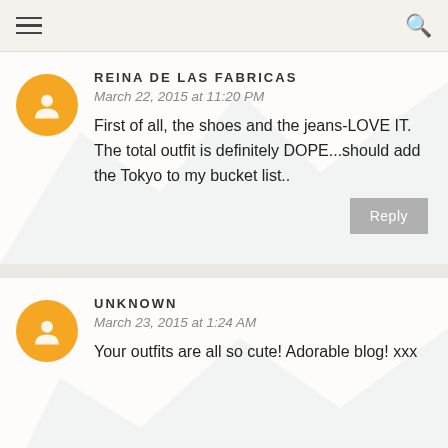REINA DE LAS FABRICAS
March 22, 2015 at 11:20 PM
First of all, the shoes and the jeans-LOVE IT. The total outfit is definitely DOPE...should add the Tokyo to my bucket list..
UNKNOWN
March 23, 2015 at 1:24 AM
Your outfits are all so cute! Adorable blog! xxx